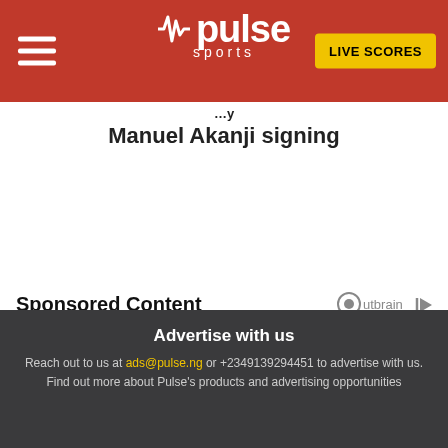Pulse Sports — LIVE SCORES
Manuel Akanji signing
Sponsored Content
Advertise with us
Reach out to us at ads@pulse.ng or +2349139294451 to advertise with us. Find out more about Pulse's products and advertising opportunities